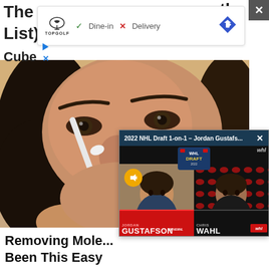The ... the List) Cube...
[Figure (screenshot): Advertisement bar showing TopGolf logo with Dine-in checkmark and Delivery X, navigation arrow on right]
[Figure (photo): Close-up photo of a woman applying something white (cotton swab or tool) to her nose for mole/skin removal]
Removing Mole... Been This Easy
[Figure (screenshot): Video popup overlay showing '2022 NHL Draft 1-on-1 - Jordan Gustafs...' with two participants: Jordan Gustafson and Chris Wahl, WHL Draft branding, mute button visible]